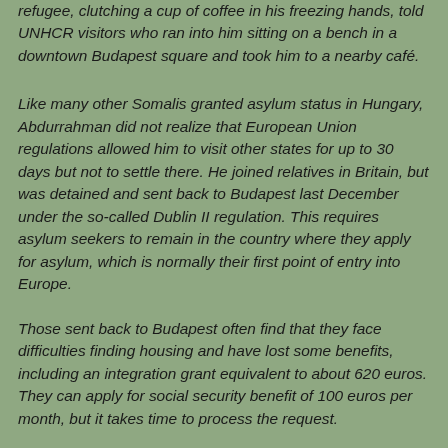refugee, clutching a cup of coffee in his freezing hands, told UNHCR visitors who ran into him sitting on a bench in a downtown Budapest square and took him to a nearby café.
Like many other Somalis granted asylum status in Hungary, Abdurrahman did not realize that European Union regulations allowed him to visit other states for up to 30 days but not to settle there. He joined relatives in Britain, but was detained and sent back to Budapest last December under the so-called Dublin II regulation. This requires asylum seekers to remain in the country where they apply for asylum, which is normally their first point of entry into Europe.
Those sent back to Budapest often find that they face difficulties finding housing and have lost some benefits, including an integration grant equivalent to about 620 euros. They can apply for social security benefit of 100 euros per month, but it takes time to process the request.
With winter upon us, time is something that many of them